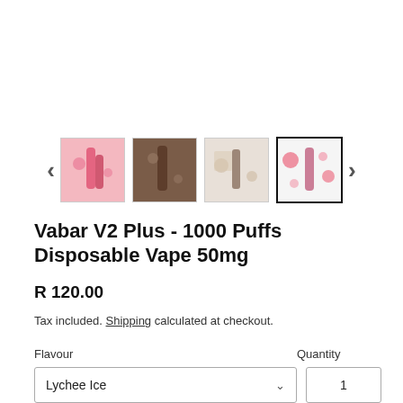[Figure (screenshot): Product image thumbnail carousel with 4 thumbnails and left/right navigation arrows. Thumbnails show product packaging images for Vabar V2 Plus vape device. The rightmost thumbnail is selected (highlighted with black border).]
Vabar V2 Plus - 1000 Puffs Disposable Vape 50mg
R 120.00
Tax included. Shipping calculated at checkout.
Flavour
Quantity
Lychee Ice
1